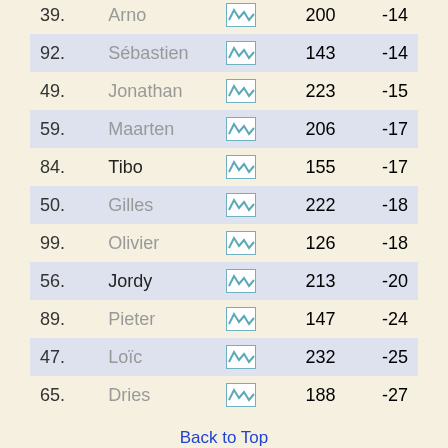| Rank | Name |  | Times | +/- |
| --- | --- | --- | --- | --- |
| 92. | Sébastien |  | 143 | -14 |
| 49. | Jonathan |  | 223 | -15 |
| 59. | Maarten |  | 206 | -17 |
| 84. | Tibo |  | 155 | -17 |
| 50. | Gilles |  | 222 | -18 |
| 99. | Olivier |  | 126 | -18 |
| 56. | Jordy |  | 213 | -20 |
| 89. | Pieter |  | 147 | -24 |
| 47. | Loïc |  | 232 | -25 |
| 65. | Dries |  | 188 | -27 |
Back to Top
Girls
| Rank | Name ⇅ | Times ⇅ | +/- ⇅ |
| --- | --- | --- | --- |